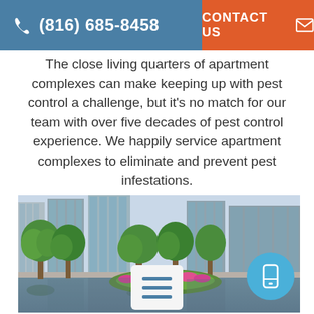(816) 685-8458  CONTACT US
The close living quarters of apartment complexes can make keeping up with pest control a challenge, but it’s no match for our team with over five decades of pest control experience. We happily service apartment complexes to eliminate and prevent pest infestations.
[Figure (photo): Photo of a modern apartment complex courtyard with tall glass-facade buildings, green trees, a reflective pool/water feature, and a colorful flower garden island in the foreground.]